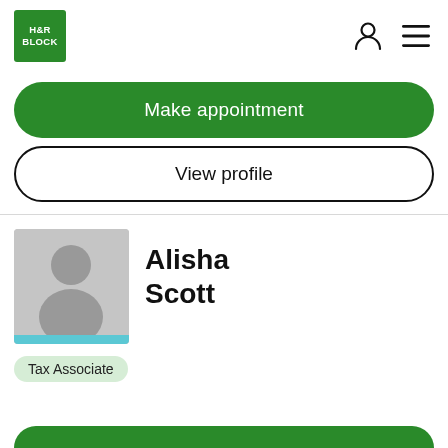[Figure (logo): H&R Block green logo square with white text]
Make appointment
View profile
Alisha Scott
[Figure (photo): Gray placeholder silhouette avatar with light blue stripe at bottom]
Tax Associate